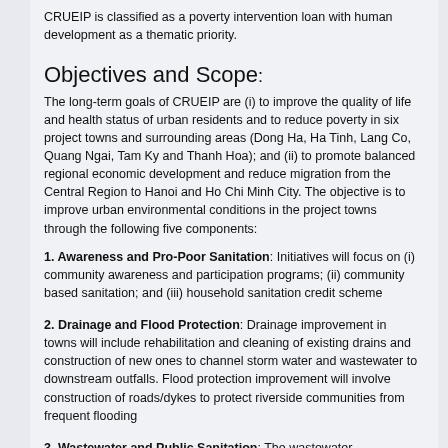CRUEIP is classified as a poverty intervention loan with human development as a thematic priority.
Objectives and Scope:
The long-term goals of CRUEIP are (i) to improve the quality of life and health status of urban residents and to reduce poverty in six project towns and surrounding areas (Dong Ha, Ha Tinh, Lang Co, Quang Ngai, Tam Ky and Thanh Hoa); and (ii) to promote balanced regional economic development and reduce migration from the Central Region to Hanoi and Ho Chi Minh City. The objective is to improve urban environmental conditions in the project towns through the following five components:
1. Awareness and Pro-Poor Sanitation: Initiatives will focus on (i) community awareness and participation programs; (ii) community based sanitation; and (iii) household sanitation credit scheme
2. Drainage and Flood Protection: Drainage improvement in towns will include rehabilitation and cleaning of existing drains and construction of new ones to channel storm water and wastewater to downstream outfalls. Flood protection improvement will involve construction of roads/dykes to protect riverside communities from frequent flooding
3. Wastewater and Public Sanitation: The wastewater improvement activities are designed to collect, treat, and safely dispose of wastewater from the urban areas. The public sanitation activities involve use of facilities in select towns.